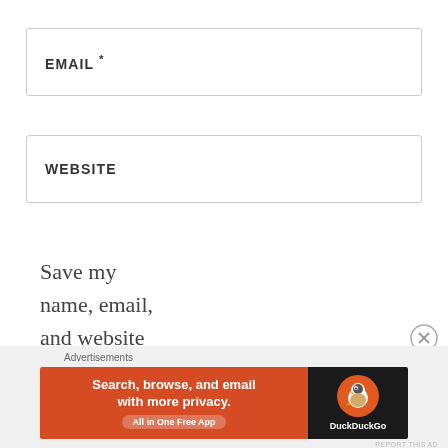EMAIL *
WEBSITE
Save my name, email, and website in this browser for the next time
[Figure (screenshot): DuckDuckGo advertisement banner with text 'Search, browse, and email with more privacy. All in One Free App' on orange background and DuckDuckGo logo on dark background]
Advertisements